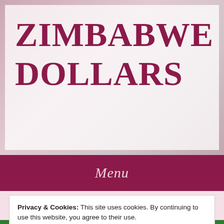ZIMBABWE DOLLARS
Menu
TAG ARCHIVE | ZIMBABWE
Zimbabwe
Privacy & Cookies: This site uses cookies. By continuing to use this website, you agree to their use.
To find out more, including how to control cookies, see here: Cookie Policy
Close and accept